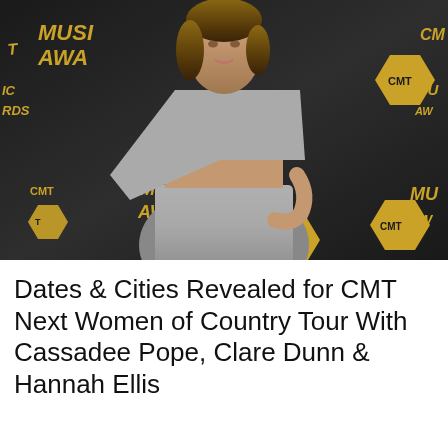[Figure (photo): Woman in silver one-shoulder crop top and matching skirt posing at CMT Music Awards red carpet backdrop with gold CMT logos]
Dates & Cities Revealed for CMT Next Women of Country Tour With Cassadee Pope, Clare Dunn & Hannah Ellis